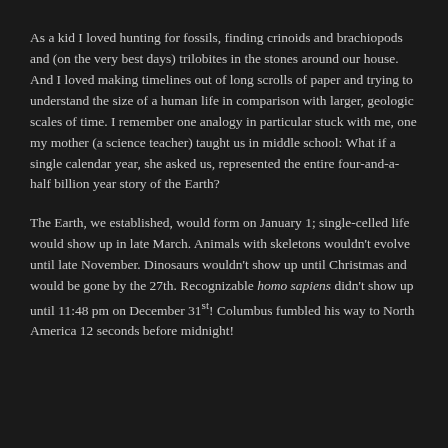As a kid I loved hunting for fossils, finding crinoids and brachiopods and (on the very best days) trilobites in the stones around our house.  And I loved making timelines out of long scrolls of paper and trying to understand the size of a human life in comparison with larger, geologic scales of time.  I remember one analogy in particular stuck with me, one my mother (a science teacher) taught us in middle school: What if a single calendar year, she asked us, represented the entire four-and-a-half billion year story of the Earth?
The Earth, we established, would form on January 1; single-celled life would show up in late March.  Animals with skeletons wouldn't evolve until late November.  Dinosaurs wouldn't show up until Christmas and would be gone by the 27th. Recognizable homo sapiens didn't show up until 11:48 pm on December 31st!  Columbus fumbled his way to North America 12 seconds before midnight!